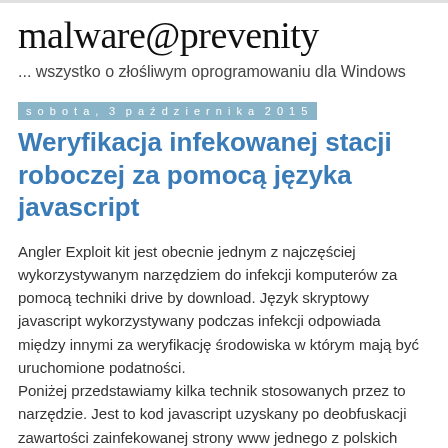malware@prevenity
... wszystko o złośliwym oprogramowaniu dla Windows
sobota, 3 października 2015
Weryfikacja infekowanej stacji roboczej za pomocą języka javascript
Angler Exploit kit jest obecnie jednym z najczęściej wykorzystywanym narzędziem do infekcji komputerów za pomocą techniki drive by download. Język skryptowy javascript wykorzystywany podczas infekcji odpowiada między innymi za weryfikację środowiska w którym mają być uruchomione podatności.
Poniżej przedstawiamy kilka technik stosowanych przez to narzędzie. Jest to kod javascript uzyskany po deobfuskacji zawartości zainfekowanej strony www jednego z polskich portali. Techniki te są zaimplementowane w dwóch funkcjach: